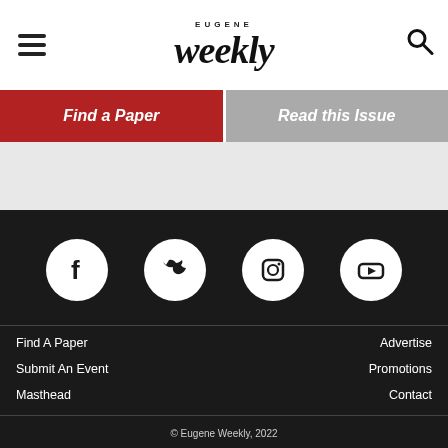Eugene Weekly
Find a Paper
Read this Issue
[Figure (logo): Eugene Weekly logo with 'EUGENE' in small caps above 'weekly' in large italic serif font]
Find A Paper
Submit An Event
Masthead
Support Eugene Weekly
Advertise
Promotions
Contact
© Eugene Weekly, 2022